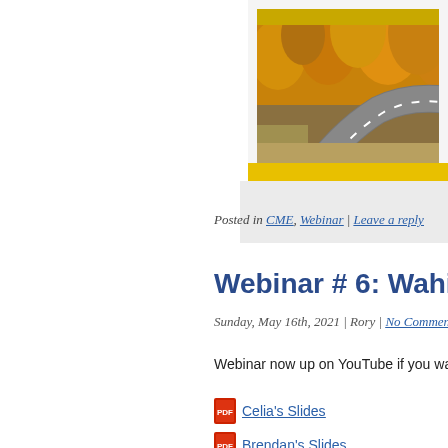[Figure (photo): Autumn road scene with yellow/orange trees lining a winding road, viewed from above, with a yellow border strip at the bottom.]
Posted in CME, Webinar | Leave a reply
Webinar # 6: Wahine and R…
Sunday, May 16th, 2021 | Rory | No Comments
Webinar now up on YouTube if you want to watc…
Celia's Slides
Brendan's Slides